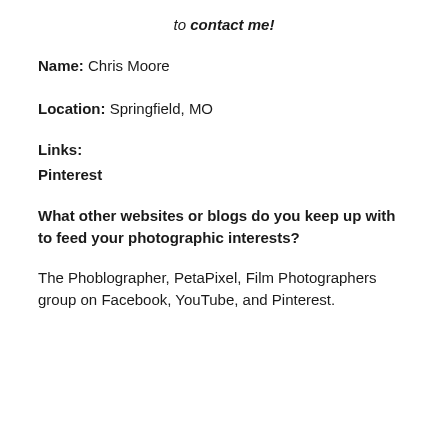to contact me!
Name: Chris Moore
Location: Springfield, MO
Links:
Pinterest
What other websites or blogs do you keep up with to feed your photographic interests?
The Phoblographer, PetaPixel, Film Photographers group on Facebook, YouTube, and Pinterest.